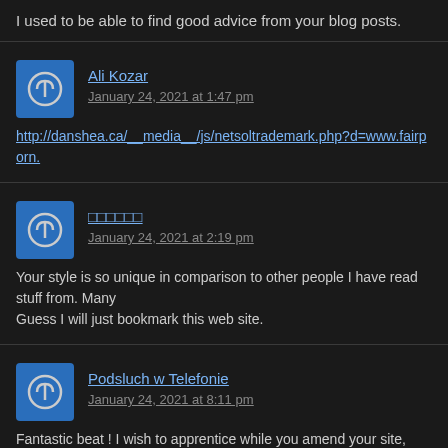I used to be able to find good advice from your blog posts.
Ali Kozar
January 24, 2021 at 1:47 pm
http://danshea.ca/__media__/js/netsoltrademark.php?d=www.fairporn.
□□□□□□
January 24, 2021 at 2:19 pm
Your style is so unique in comparison to other people I have read stuff from. Many
Guess I will just bookmark this web site.
Podsluch w Telefonie
January 24, 2021 at 8:11 pm
Fantastic beat ! I wish to apprentice while you amend your site, how can i subscrib
deal. I had been tiny bit acquainted of this your broadcast offered bright clear idea